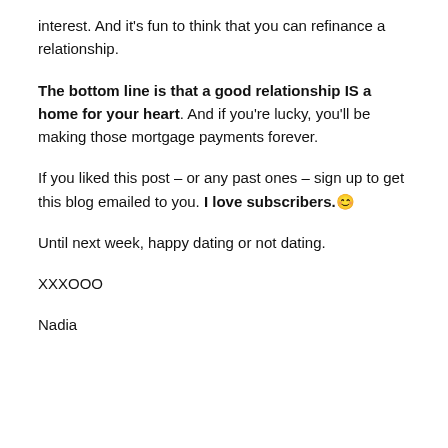interest. And it's fun to think that you can refinance a relationship.
The bottom line is that a good relationship IS a home for your heart. And if you're lucky, you'll be making those mortgage payments forever.
If you liked this post – or any past ones – sign up to get this blog emailed to you. I love subscribers.😊
Until next week, happy dating or not dating.
XXXOOO
Nadia